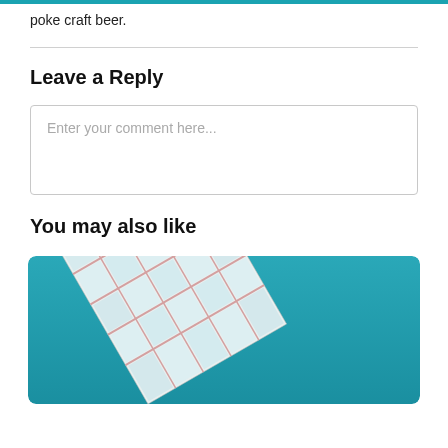poke craft beer.
Leave a Reply
Enter your comment here...
You may also like
[Figure (photo): A modern glass-paneled building photographed at an angle against a teal/turquoise sky. The building has a grid of windows with pink/white framing.]